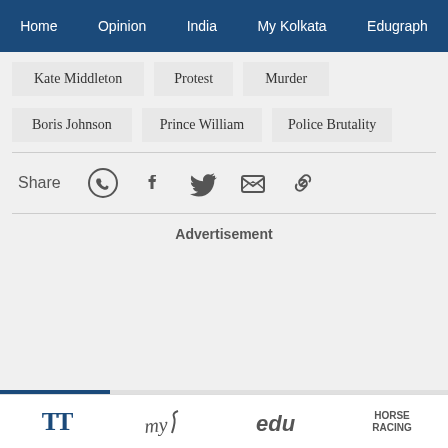Home  Opinion  India  My Kolkata  Edugraph
Kate Middleton
Protest
Murder
Boris Johnson
Prince William
Police Brutality
Share
Advertisement
[Figure (screenshot): Bottom navigation bar with TT logo, My Kolkata script logo, edu logo, and Horse Racing text icons]